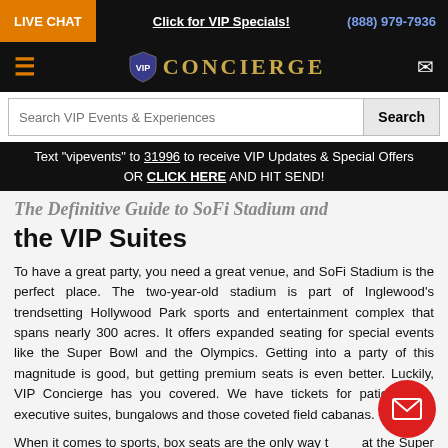LIVE CHAT | Click for VIP Specials! | (888) 979-7936
[Figure (logo): VIP Concierge logo with shield emblem and mail icon]
Search VIP Events & Experiences
Text "vipevents" to 31996 to receive VIP Updates & Special Offers OR CLICK HERE AND HIT SEND!
the VIP Suites
To have a great party, you need a great venue, and SoFi Stadium is the perfect place. The two-year-old stadium is part of Inglewood's trendsetting Hollywood Park sports and entertainment complex that spans nearly 300 acres. It offers expanded seating for special events like the Super Bowl and the Olympics. Getting into a party of this magnitude is good, but getting premium seats is even better. Luckily, VIP Concierge has you covered. We have tickets for patio suites, executive suites, bungalows and those coveted field cabanas.
When it comes to sports, box seats are the only way to go. At the Super Bowl, things are even better. You'll be front and